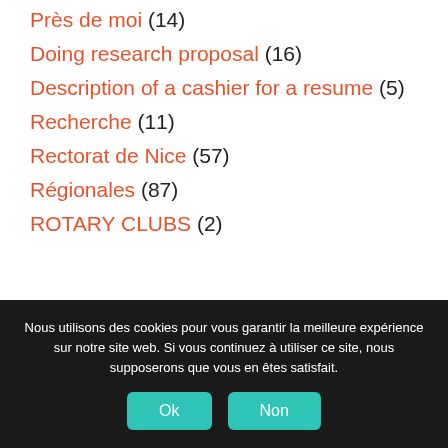Près de moi (14)
Doing research proposal (16)
Description of a cashier for a resume (5)
Recherche (11)
Rectorat de Nice (57)
Régionales (87)
ROTARY CLUBS (2)
Nous utilisons des cookies pour vous garantir la meilleure expérience sur notre site web. Si vous continuez à utiliser ce site, nous supposerons que vous en êtes satisfait.